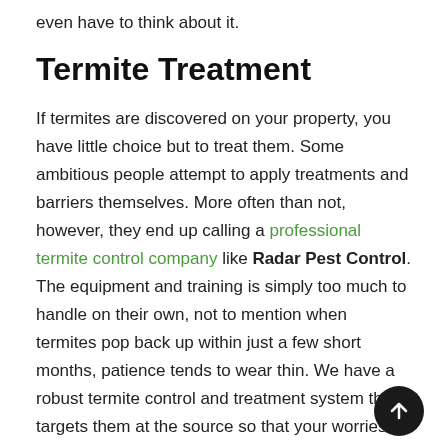even have to think about it.
Termite Treatment
If termites are discovered on your property, you have little choice but to treat them. Some ambitious people attempt to apply treatments and barriers themselves. More often than not, however, they end up calling a professional termite control company like Radar Pest Control. The equipment and training is simply too much to handle on their own, not to mention when termites pop back up within just a few short months, patience tends to wear thin. We have a robust termite control and treatment system that targets them at the source so that your worries can dissipate. Even after the fact, our termite monitoring is second to none, which means you'll get to spend time